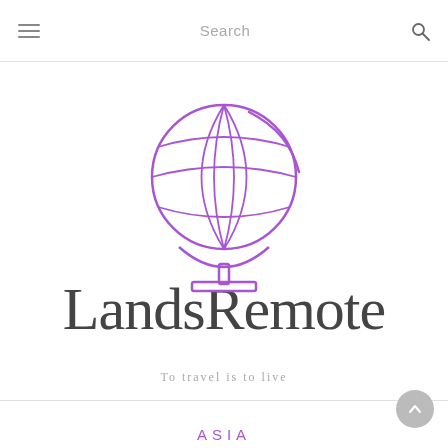≡   Search   🔍
[Figure (logo): Lands Remote logo: a purple globe on a stand with the text 'LandsRemote' in large dark serif letters overlapping the globe illustration]
To travel is to live
ASIA